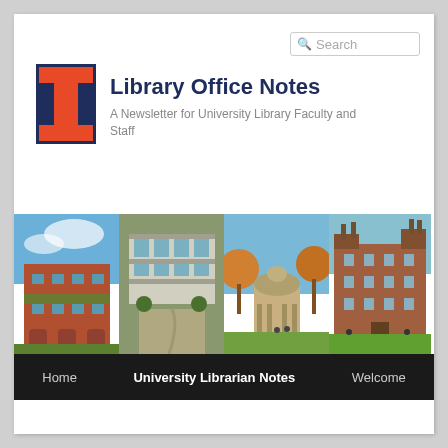[Figure (logo): University of Illinois block I logo in orange with navy border]
Library Office Notes
A Newsletter for University Library Faculty and Staff
[Figure (photo): Strip of four university library building photos]
Home   University Librarian Notes   Welcome